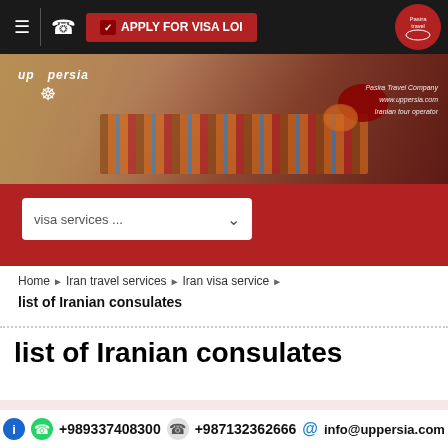≡  [phone icon]  APPLY FOR VISA LOI  [Pasira travel logo]
[Figure (photo): Banner image showing Persian handicraft weaving with bowls of saffron, overlaid with 'up persia' logo on left and 'Pasira Travel Company www.uppersia.com Iranian tour operator' text on right]
visa services ...
Home ▶ Iran travel services ▶ Iran visa service ▶ list of Iranian consulates
list of Iranian consulates
ALPHABETICAL LIST OF IRANIAN CONSULATES : AFGHANISTAN TO FRANCE
| Country | City | Area | Tel. | Fax. | Address |
| --- | --- | --- | --- | --- | --- |
+989337408300  +987132362666  @info@uppersia.com